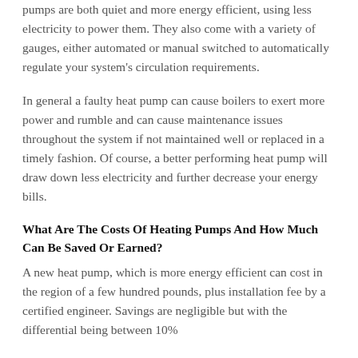pumps are both quiet and more energy efficient, using less electricity to power them. They also come with a variety of gauges, either automated or manual switched to automatically regulate your system's circulation requirements.
In general a faulty heat pump can cause boilers to exert more power and rumble and can cause maintenance issues throughout the system if not maintained well or replaced in a timely fashion. Of course, a better performing heat pump will draw down less electricity and further decrease your energy bills.
What Are The Costs Of Heating Pumps And How Much Can Be Saved Or Earned?
A new heat pump, which is more energy efficient can cost in the region of a few hundred pounds, plus installation fee by a certified engineer. Savings are negligible but with the differential being between 10%